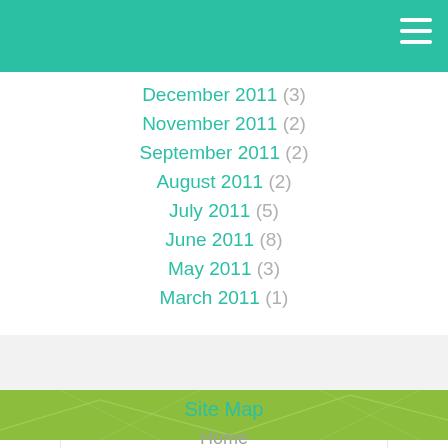December 2011 (3)
November 2011 (2)
September 2011 (2)
August 2011 (2)
July 2011 (5)
June 2011 (8)
May 2011 (3)
March 2011 (1)
February 2011 (5)
January 2011 (6)
Site Map
Home